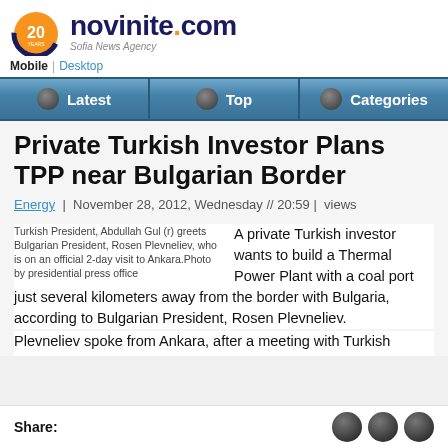novinite.com — Sofia News Agency
Mobile | Desktop
Latest | Top | Categories
Private Turkish Investor Plans TPP near Bulgarian Border
Energy | November 28, 2012, Wednesday // 20:59 | views
Turkish President, Abdullah Gul (r) greets Bulgarian President, Rosen Plevneliev, who is on an official 2-day visit to Ankara.Photo by presidential press office
A private Turkish investor wants to build a Thermal Power Plant with a coal port just several kilometers away from the border with Bulgaria, according to Bulgarian President, Rosen Plevneliev.
Plevneliev spoke from Ankara, after a meeting with Turkish
Share: